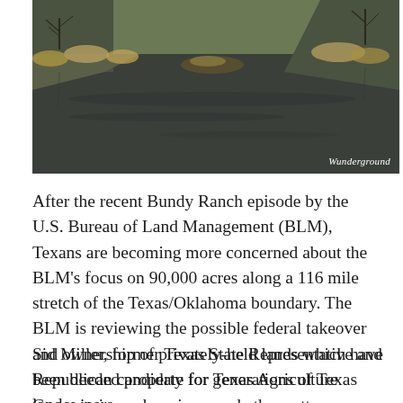[Figure (photo): Aerial or ground-level photograph of a river or waterway with muddy water, bare trees, and dry vegetation along the banks. Photo credit: Wunderground.]
After the recent Bundy Ranch episode by the U.S. Bureau of Land Management (BLM), Texans are becoming more concerned about the BLM's focus on 90,000 acres along a 116 mile stretch of the Texas/Oklahoma boundary. The BLM is reviewing the possible federal takeover and ownership of privately-held lands which have been deeded property for generations of Texas landowners.
Sid Miller, former Texas State Representative and Republican candidate for Texas Agriculture Commissioner, has since made the matter a campaign issue to Breitbart Texas.